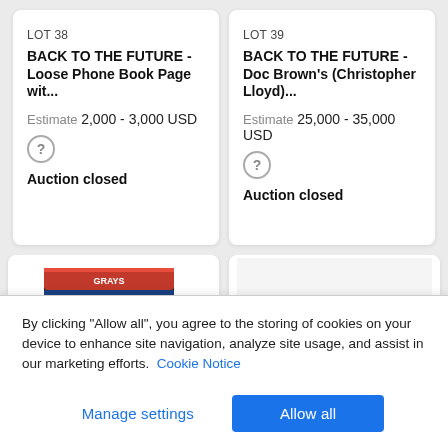LOT 38
BACK TO THE FUTURE - Loose Phone Book Page wit...
Estimate 2,000 - 3,000 USD
Auction closed
LOT 39
BACK TO THE FUTURE - Doc Brown's (Christopher Lloyd)...
Estimate 25,000 - 35,000 USD
Auction closed
[Figure (photo): Sport Almanac book cover image]
[Figure (photo): Partially visible auction item image]
By clicking “Allow all”, you agree to the storing of cookies on your device to enhance site navigation, analyze site usage, and assist in our marketing efforts. Cookie Notice
Manage settings
Allow all